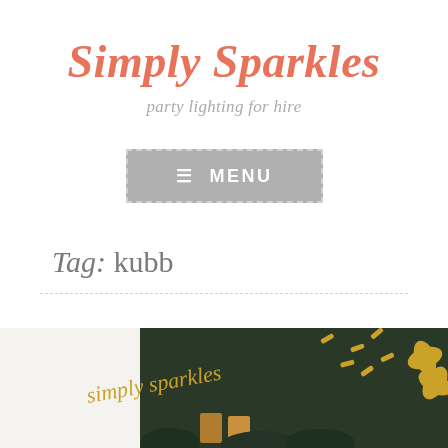Simply Sparkles
party lighting for hire
[Figure (screenshot): Gray menu button with dashed border and hamburger icon, labeled MENU]
Tag: kubb
[Figure (photo): Simply Sparkles branded image with gold foliage decorations and dark green background, showing the script logo text 'simply sparkles']